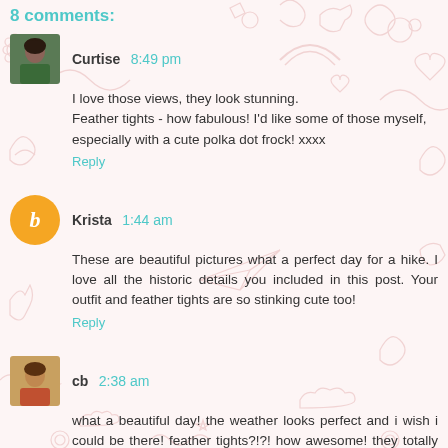8 comments:
Curtise 8:49 pm
I love those views, they look stunning.
Feather tights - how fabulous! I'd like some of those myself, especially with a cute polka dot frock! xxxx
Reply
Krista 1:44 am
These are beautiful pictures what a perfect day for a hike. I love all the historic details you included in this post. Your outfit and feather tights are so stinking cute too!
Reply
cb 2:38 am
what a beautiful day! the weather looks perfect and i wish i could be there! feather tights?!?! how awesome! they totally count as colored tights!